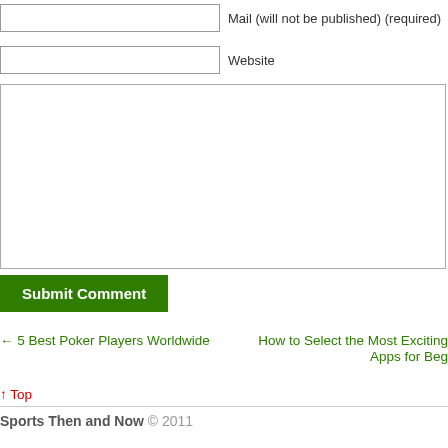Mail (will not be published) (required)
Website
Submit Comment
← 5 Best Poker Players Worldwide
How to Select the Most Exciting Apps for Beg
↑ Top
Sports Then and Now © 2011